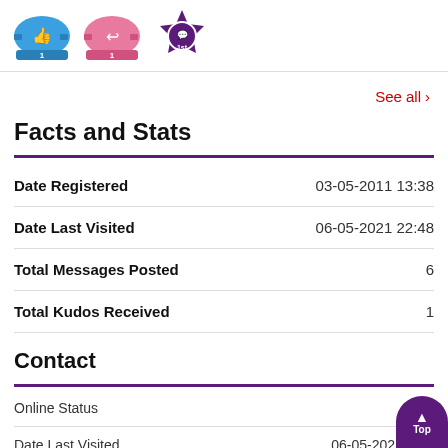[Figure (illustration): Three achievement badges: a blue thumbs-up badge with '1', a pink reply/arrow badge with '1', and a purple medal badge with '1st']
See all >
Facts and Stats
|  |  |
| --- | --- |
| Date Registered | 03-05-2011 13:38 |
| Date Last Visited | 06-05-2021 22:48 |
| Total Messages Posted | 6 |
| Total Kudos Received | 1 |
Contact
|  |  |
| --- | --- |
| Online Status | ● |
| Date Last Visited | 06-05-2021 22:4 |